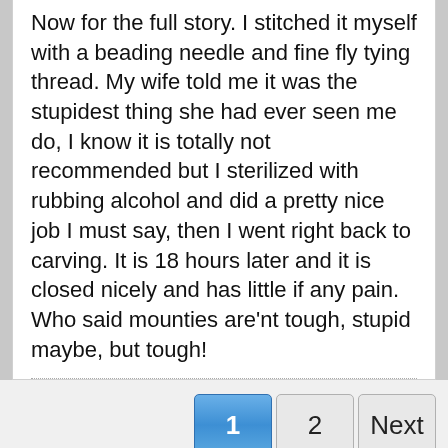Now for the full story. I stitched it myself with a beading needle and fine fly tying thread. My wife told me it was the stupidest thing she had ever seen me do, I know it is totally not recommended but I sterilized with rubbing alcohol and did a pretty nice job I must say, then I went right back to carving. It is 18 hours later and it is closed nicely and has little if any pain. Who said mounties are'nt tough, stupid maybe, but tough!
1 2 Next
Default vB5 Style | English (US) | Go to...